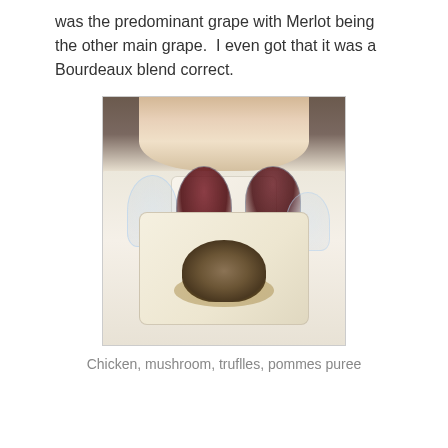was the predominant grape with Merlot being the other main grape.  I even got that it was a Bourdeaux blend correct.
[Figure (photo): Restaurant table setting with wine glasses containing red wine and a plate in the foreground with chicken, mushrooms, truffles, and pommes puree. A person in a white top is visible in the background.]
Chicken, mushroom, truflles, pommes puree